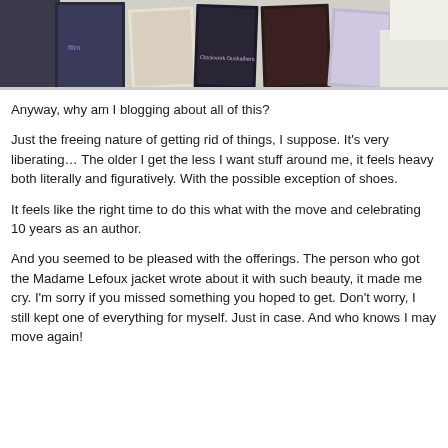[Figure (photo): Photo of several book covers arranged on a surface, partially visible at the top of the page.]
Anyway, why am I blogging about all of this?
Just the freeing nature of getting rid of things, I suppose. It's very liberating… The older I get the less I want stuff around me, it feels heavy both literally and figuratively. With the possible exception of shoes.
It feels like the right time to do this what with the move and celebrating 10 years as an author.
And you seemed to be pleased with the offerings. The person who got the Madame Lefoux jacket wrote about it with such beauty, it made me cry. I'm sorry if you missed something you hoped to get. Don't worry, I still kept one of everything for myself. Just in case. And who knows I may move again!